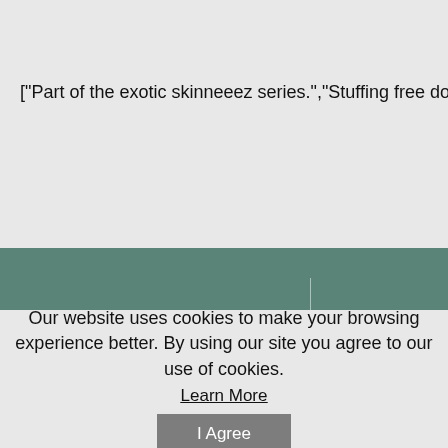["Part of the exotic skinneeez series.","Stuffing free dog toy for long lasti
Information
About Us
My Ac
My A
Our website uses cookies to make your browsing experience better. By using our site you agree to our use of cookies.
Learn More
I Agree